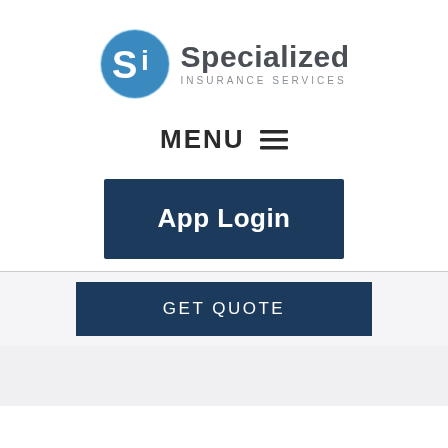[Figure (logo): Specialized Insurance Services logo: blue circular icon with 'Si' text and company name]
MENU ☰
App Login
GET QUOTE
Customer Reviews